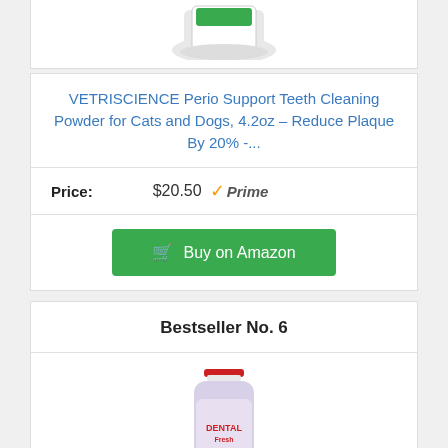[Figure (photo): Partial product image of VETRISCIENCE Perio Support Teeth Cleaning Powder container at top of page]
VETRISCIENCE Perio Support Teeth Cleaning Powder for Cats and Dogs, 4.2oz – Reduce Plaque By 20% -...
Price: $20.50 ✓Prime
Buy on Amazon
Bestseller No. 6
[Figure (photo): Partial product image of Dental Fresh bottle, a blue/purple dental rinse for dogs]